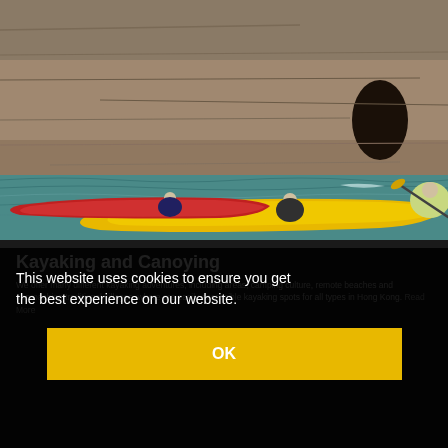[Figure (photo): People kayaking in yellow and red kayaks on turquoise water in front of tall rocky cliffs with a cave opening]
Kayaking and Canoying
We offer many different kayaking adventures, including areas, camping culture, remote beaches and approaching traditional villages, where are easily accessible kayaking spots for all types in Hong Kong. Read More
This website uses cookies to ensure you get the best experience on our website.